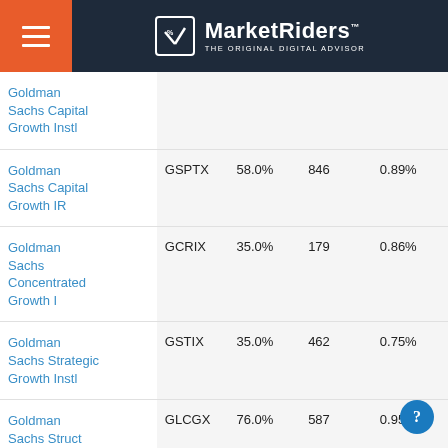MarketRiders — THE ORIGINAL DIGITAL ADVISOR
| Fund Name | Ticker | % Stock | Holdings | Expense |
| --- | --- | --- | --- | --- |
| Goldman Sachs Capital Growth Instl |  |  |  |  |
| Goldman Sachs Capital Growth IR | GSPTX | 58.0% | 846 | 0.89% |
| Goldman Sachs Concentrated Growth I | GCRIX | 35.0% | 179 | 0.86% |
| Goldman Sachs Strategic Growth Instl | GSTIX | 35.0% | 462 | 0.75% |
| Goldman Sachs Struct Large Cap Gr A | GLCGX | 76.0% | 587 | 0.95% |